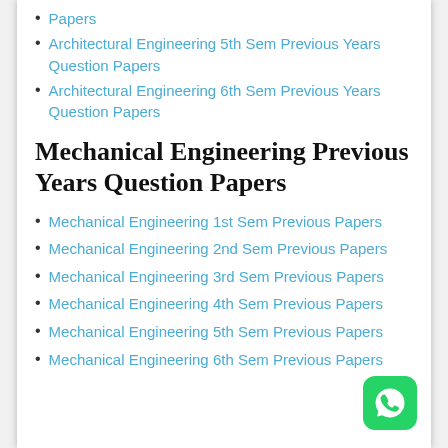Papers
Architectural Engineering 5th Sem Previous Years Question Papers
Architectural Engineering 6th Sem Previous Years Question Papers
Mechanical Engineering Previous Years Question Papers
Mechanical Engineering 1st Sem Previous Papers
Mechanical Engineering 2nd Sem Previous Papers
Mechanical Engineering 3rd Sem Previous Papers
Mechanical Engineering 4th Sem Previous Papers
Mechanical Engineering 5th Sem Previous Papers
Mechanical Engineering 6th Sem Previous Papers
[Figure (logo): WhatsApp icon - green rounded square with white phone handset]